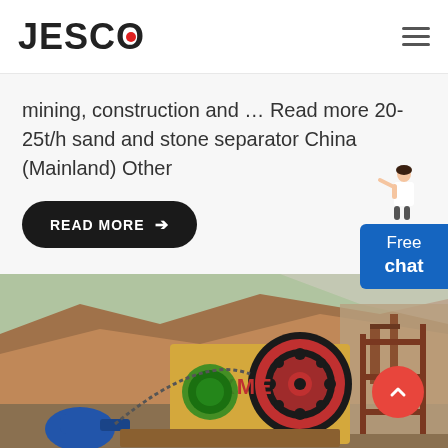JESCO
mining, construction and … Read more 20-25t/h sand and stone separator China (Mainland) Other
READ MORE →
[Figure (photo): Mining/construction machinery (jaw crusher branded XME/KME) at an outdoor site with rocky hillside backdrop, structural steel framework visible]
Free chat